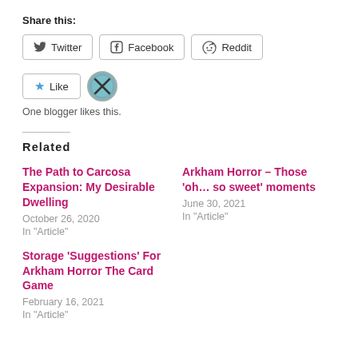Share this:
Twitter  Facebook  Reddit
Like  [avatar]  One blogger likes this.
Related
The Path to Carcosa Expansion: My Desirable Dwelling
October 26, 2020
In "Article"
Arkham Horror – Those 'oh… so sweet' moments
June 30, 2021
In "Article"
Storage 'Suggestions' For Arkham Horror The Card Game
February 16, 2021
In "Article"